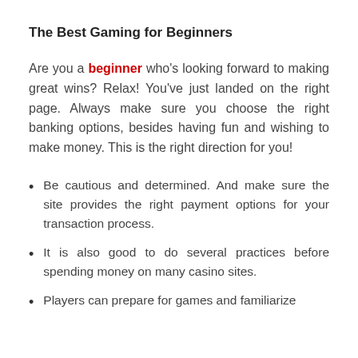The Best Gaming for Beginners
Are you a beginner who's looking forward to making great wins? Relax! You've just landed on the right page. Always make sure you choose the right banking options, besides having fun and wishing to make money. This is the right direction for you!
Be cautious and determined. And make sure the site provides the right payment options for your transaction process.
It is also good to do several practices before spending money on many casino sites.
Players can prepare for games and familiarize